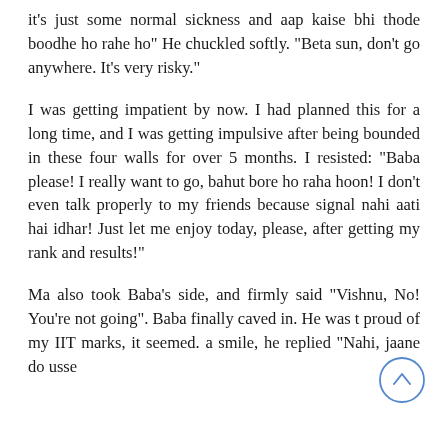it's just some normal sickness and aap kaise bhi thode boodhe ho rahe ho" He chuckled softly. "Beta sun, don't go anywhere. It's very risky."
I was getting impatient by now. I had planned this for a long time, and I was getting impulsive after being bounded in these four walls for over 5 months. I resisted: "Baba please! I really want to go, bahut bore ho raha hoon! I don't even talk properly to my friends because signal nahi aati hai idhar! Just let me enjoy today, please, after getting my rank and results!"
Ma also took Baba's side, and firmly said "Vishnu, No! You're not going". Baba finally caved in. He was t proud of my IIT marks, it seemed. a smile, he replied "Nahi, jaane do usse